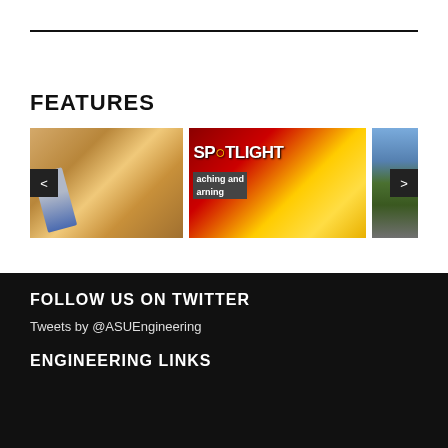FEATURES
[Figure (photo): Photo of a notebook with a pen and a cup of coffee on a wooden table, warm tones]
[Figure (photo): Spotlight on Teaching and Learning graphic with cartoon character at laptop, red/maroon and yellow background]
[Figure (photo): Partial photo of a road with green fields and cloudy sky]
FOLLOW US ON TWITTER
Tweets by @ASUEngineering
ENGINEERING LINKS